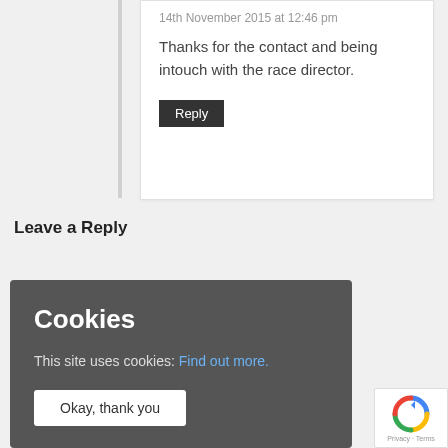14th November 2015 at 12:46 pm
Thanks for the contact and being intouch with the race director.
Reply
Leave a Reply
Cookies
This site uses cookies: Find out more.
Okay, thank you